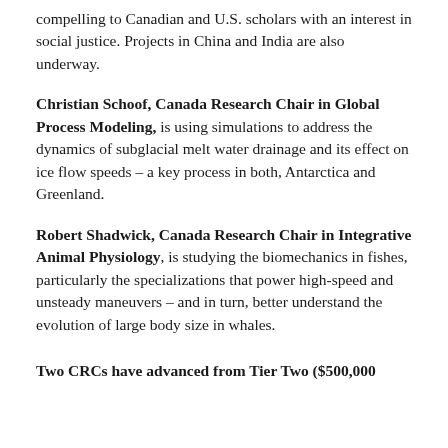compelling to Canadian and U.S. scholars with an interest in social justice. Projects in China and India are also underway.
Christian Schoof, Canada Research Chair in Global Process Modeling, is using simulations to address the dynamics of subglacial melt water drainage and its effect on ice flow speeds – a key process in both, Antarctica and Greenland.
Robert Shadwick, Canada Research Chair in Integrative Animal Physiology, is studying the biomechanics in fishes, particularly the specializations that power high-speed and unsteady maneuvers – and in turn, better understand the evolution of large body size in whales.
Two CRCs have advanced from Tier Two ($500,000